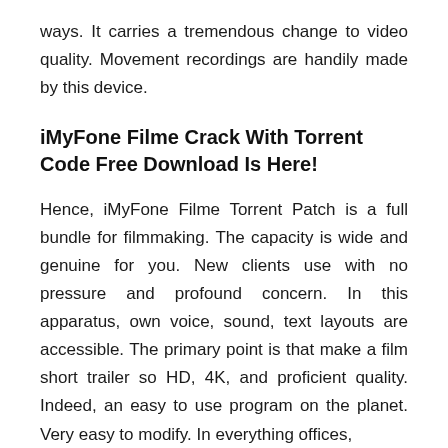ways. It carries a tremendous change to video quality. Movement recordings are handily made by this device.
iMyFone Filme Crack With Torrent Code Free Download Is Here!
Hence, iMyFone Filme Torrent Patch is a full bundle for filmmaking. The capacity is wide and genuine for you. New clients use with no pressure and profound concern. In this apparatus, own voice, sound, text layouts are accessible. The primary point is that make a film short trailer so HD, 4K, and proficient quality. Indeed, an easy to use program on the planet. Very easy to modify. In everything offices,